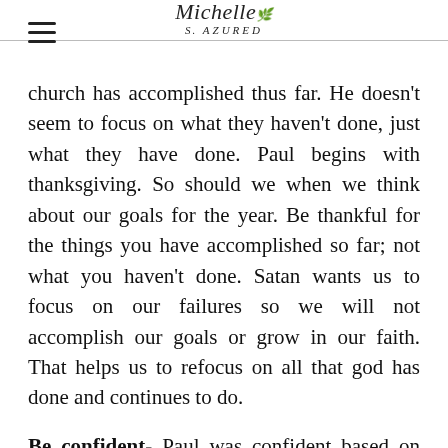Michelle S. — logo with decorative script
church has accomplished thus far. He doesn't seem to focus on what they haven't done, just what they have done. Paul begins with thanksgiving. So should we when we think about our goals for the year. Be thankful for the things you have accomplished so far; not what you haven't done. Satan wants us to focus on our failures so we will not accomplish our goals or grow in our faith. That helps us to refocus on all that god has done and continues to do.
Be confident- Paul was confident based on what he had seen and heard about this church that they would fulfill their calling to spread the good news of Christ as instructed. He was also confident on God's faithfulness. It didn't matter how many